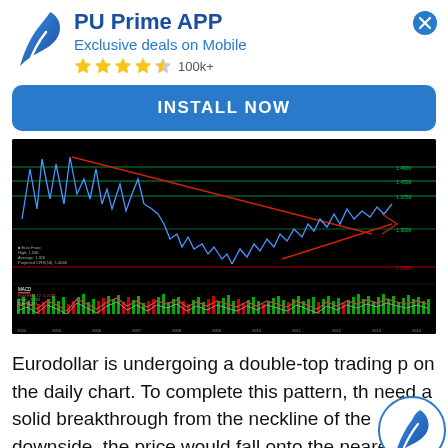PU Prime APP — Exclusive deals on Mobile — ★★★★☆ 100k+
INSTALL NOW
[Figure (screenshot): Financial chart showing Eurodollar daily candlestick chart with a double-top pattern, descending trendlines (red), horizontal support/resistance levels (green), and a MACD indicator panel below with green/red histogram bars and red/grey signal lines.]
Eurodollar is undergoing a double-top trading p on the daily chart. To complete this pattern, the need a solid breakthrough from the neckline of the downside, the price would fall onto the nearest